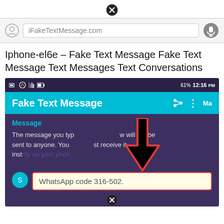[Figure (screenshot): A close button (X circle icon) at the top center of the page]
[Figure (screenshot): Browser address bar with camera icon on the left, 'iFakeTextMessage.com' text in a rounded input field, and microphone icon on the right, on a gray background]
Iphone-el6e – Fake Text Message Fake Text Message Text Messages Text Conversations
[Figure (screenshot): Android phone screenshot showing the 'Fake Text Message' app. The app has a teal header, a dark purple background with a 'Message' label and descriptive text, a large black downward arrow overlaid in red box pointing to a WhatsApp message bubble saying 'WhatsApp code 316-502.' A close/X button appears at bottom center.]